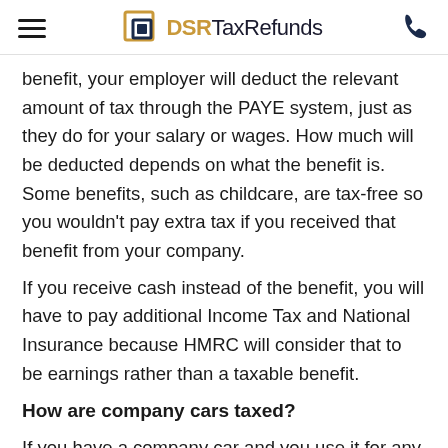DSR TaxRefunds
benefit, your employer will deduct the relevant amount of tax through the PAYE system, just as they do for your salary or wages. How much will be deducted depends on what the benefit is. Some benefits, such as childcare, are tax-free so you wouldn't pay extra tax if you received that benefit from your company.
If you receive cash instead of the benefit, you will have to pay additional Income Tax and National Insurance because HMRC will consider that to be earnings rather than a taxable benefit.
How are company cars taxed?
If you have a company car and you use it for any private use for you or your family, you will have to